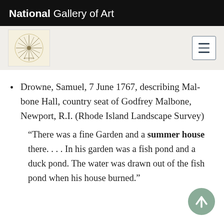National Gallery of Art
[Figure (logo): NGA logo — decorative compass/starburst mark on cream background]
Drowne, Samuel, 7 June 1767, describing Mal-bone Hall, country seat of Godfrey Malbone, Newport, R.I. (Rhode Island Landscape Survey)
“There was a fine Garden and a summer house there. . . . In his garden was a fish pond and a duck pond. The water was drawn out of the fish pond when his house burned.”
[Figure (illustration): Scroll-to-top circular button with upward arrow, sage green color]